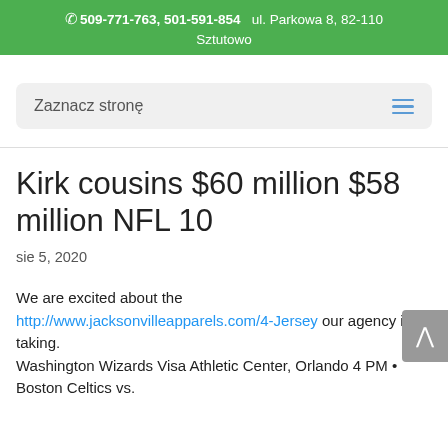📞 509-771-763, 501-591-854    ul. Parkowa 8, 82-110 Sztutowo
Zaznacz stronę
Kirk cousins $60 million $58 million NFL 10
sie 5, 2020
We are excited about the http://www.jacksonvilleapparels.com/4-Jersey our agency is taking. Washington Wizards Visa Athletic Center, Orlando 4 PM • Boston Celtics vs.